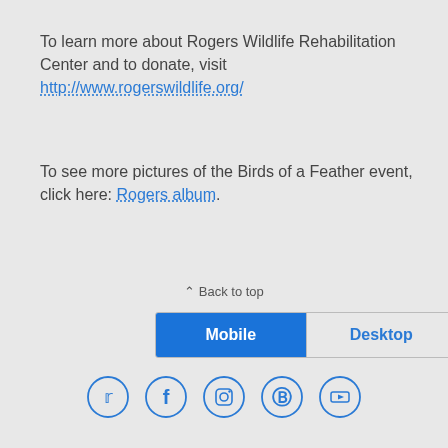To learn more about Rogers Wildlife Rehabilitation Center and to donate, visit http://www.rogerswildlife.org/
To see more pictures of the Birds of a Feather event, click here: Rogers album.
⋀ Back to top
Mobile | Desktop
[Figure (other): Social media icons: Twitter, Facebook, Instagram, Pinterest, YouTube]